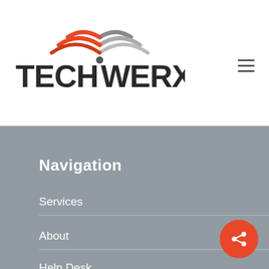[Figure (logo): TechWerxe logo with wifi/signal arc icon in red and grey above stylized TECHWERXE text in dark grey/black]
[Figure (other): Hamburger menu icon (three horizontal lines) in top right corner]
Navigation
Services
About
Help Desk
[Figure (other): Orange circular share/connect button in bottom right corner]